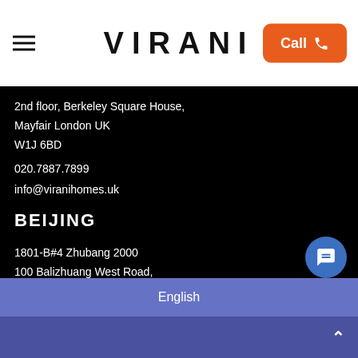VIRANI
2nd floor, Berkeley Square House,
Mayfair London UK
W1J 6BD
020.7887.7899
info@viranihomes.uk
BEIJING
1801-B#4 Zhubang 2000
100 Balizhuang West Road,
Chaoyang, Beijing China
100025
86.185.1447.1000
English